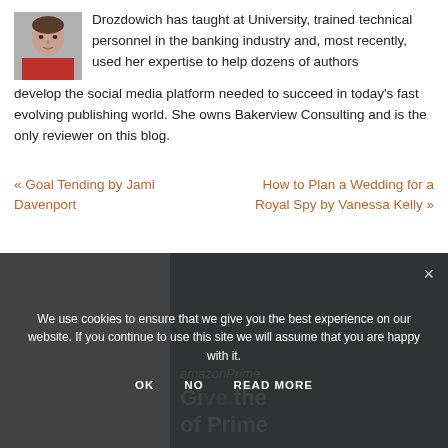[Figure (photo): Small square portrait photo of a person wearing a red top]
Drozdowich has taught at University, trained technical personnel in the banking industry and, most recently, used her expertise to help dozens of authors develop the social media platform needed to succeed in today's fast evolving publishing world. She owns Bakerview Consulting and is the only reviewer on this blog.
« Goal Tending by Jami Davenport
How to Plan a Wedding for a Royal Spy by Vanessa Kelly »
We use cookies to ensure that we give you the best experience on our website. If you continue to use this site we will assume that you are happy with it.
OK   NO   READ MORE